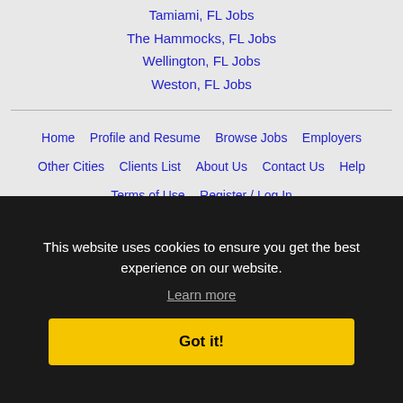Tamiami, FL Jobs
The Hammocks, FL Jobs
Wellington, FL Jobs
Weston, FL Jobs
Home  Profile and Resume  Browse Jobs  Employers  Other Cities  Clients List  About Us  Contact Us  Help  Terms of Use  Register / Log In
This website uses cookies to ensure you get the best experience on our website.
Learn more
Got it!